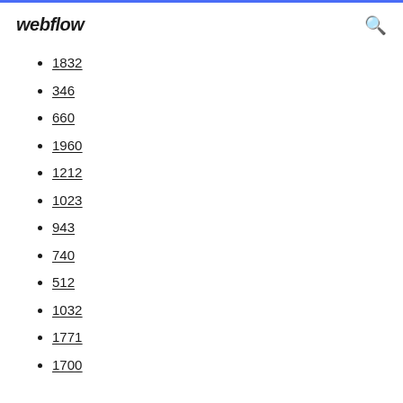webflow
1832
346
660
1960
1212
1023
943
740
512
1032
1771
1700